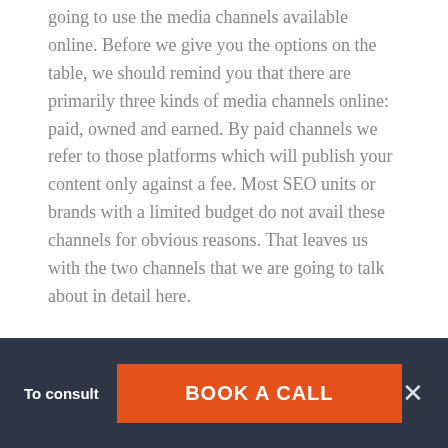going to use the media channels available online. Before we give you the options on the table, we should remind you that there are primarily three kinds of media channels online: paid, owned and earned. By paid channels we refer to those platforms which will publish your content only against a fee. Most SEO units or brands with a limited budget do not avail these channels for obvious reasons. That leaves us with the two channels that we are going to talk about in detail here.
Page Contents [ hide ]
To consult  BOOK A CALL  ×